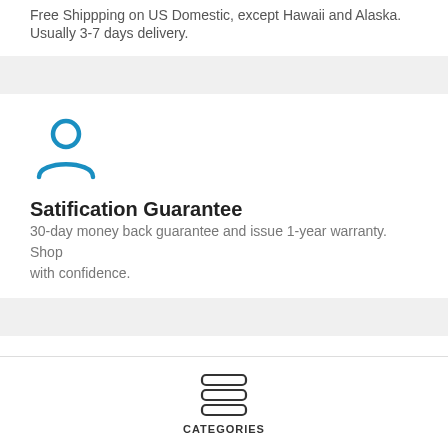Free Shippping on US Domestic, except Hawaii and Alaska. Usually 3-7 days delivery.
[Figure (illustration): Blue person/user icon (silhouette of a head and shoulders)]
Satification Guarantee
30-day money back guarantee and issue 1-year warranty. Shop with confidence.
[Figure (illustration): Stack of horizontal lines icon representing a menu/categories navigation element]
CATEGORIES